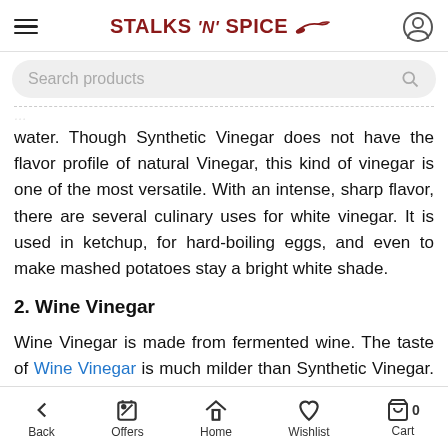Stalks 'n' Spice
Search products
water. Though Synthetic Vinegar does not have the flavor profile of natural Vinegar, this kind of vinegar is one of the most versatile. With an intense, sharp flavor, there are several culinary uses for white vinegar. It is used in ketchup, for hard-boiling eggs, and even to make mashed potatoes stay a bright white shade.
2. Wine Vinegar
Wine Vinegar is made from fermented wine. The taste of Wine Vinegar is much milder than Synthetic Vinegar. Wine Vinegar finds extensive culinary uses. It is used in salad
Back  Offers  Home  Wishlist  Cart  0